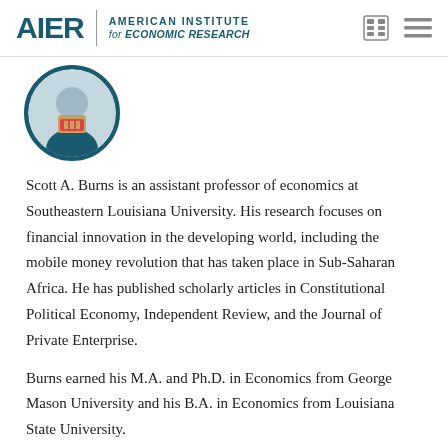AIER | AMERICAN INSTITUTE for ECONOMIC RESEARCH
[Figure (photo): Circular profile photo of Scott A. Burns, a man wearing a suit and tie]
Scott A. Burns is an assistant professor of economics at Southeastern Louisiana University. His research focuses on financial innovation in the developing world, including the mobile money revolution that has taken place in Sub-Saharan Africa. He has published scholarly articles in Constitutional Political Economy, Independent Review, and the Journal of Private Enterprise.
Burns earned his M.A. and Ph.D. in Economics from George Mason University and his B.A. in Economics from Louisiana State University.